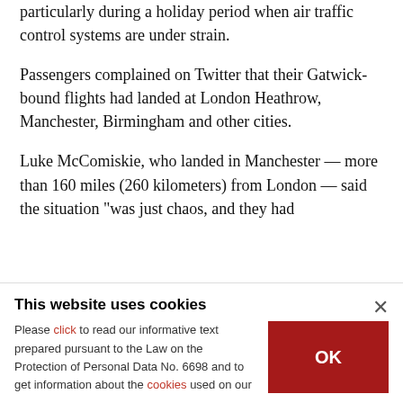particularly during a holiday period when air traffic control systems are under strain.
Passengers complained on Twitter that their Gatwick-bound flights had landed at London Heathrow, Manchester, Birmingham and other cities.
Luke McComiskie, who landed in Manchester — more than 160 miles (260 kilometers) from London — said the situation "was just chaos, and they had
This website uses cookies
Please click to read our informative text prepared pursuant to the Law on the Protection of Personal Data No. 6698 and to get information about the cookies used on our